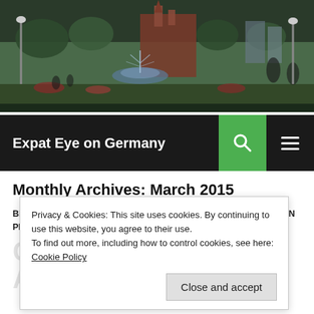[Figure (photo): Header photo of a European city park with a fountain, red-brick church in background, flowers in foreground, people walking. Dark-toned outdoor scene.]
Expat Eye on Germany
Monthly Archives: March 2015
BERLIN, ENGLISH, GERMAN LANGUAGE, GERMAN MEN, GERMAN PEOPLE, HUMOR, TEFL, WORK
CAN YOU TEACH AN OLD...
Privacy & Cookies: This site uses cookies. By continuing to use this website, you agree to their use.
To find out more, including how to control cookies, see here: Cookie Policy
Close and accept